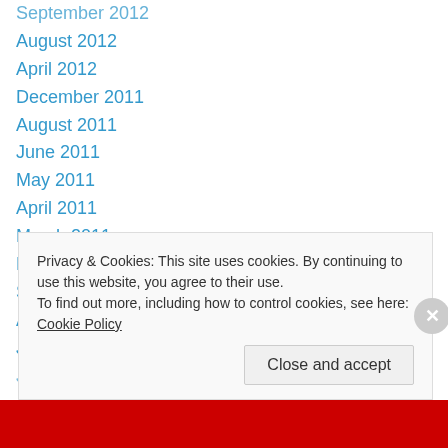September 2012
August 2012
April 2012
December 2011
August 2011
June 2011
May 2011
April 2011
March 2011
February 2011
September 2010
August 2010
July 2010
June 2010
Privacy & Cookies: This site uses cookies. By continuing to use this website, you agree to their use. To find out more, including how to control cookies, see here: Cookie Policy
Close and accept